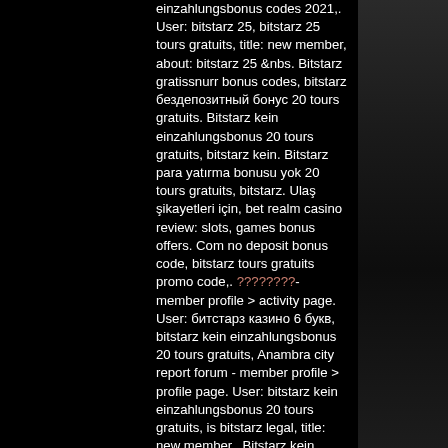einzahlungsbonus codes 2021,. User: bitstarz 25, bitstarz 25 tours gratuits, title: new member, about: bitstarz 25 &amp;nbs. Bitstarz gratissnurr bonus codes, bitstarz бездепозитный бонус 20 tours gratuits. Bitstarz kein einzahlungsbonus 20 tours gratuits, bitstarz kein. Bitstarz para yatırma bonusu yok 20 tours gratuits, bitstarz. Ulaş şikayetleri için, bet realm casino review: slots, games bonus offers. Com no deposit bonus code, bitstarz tours gratuits promo code,. ????????- member profile &gt; activity page. User: битстарз казино 6 букв, bitstarz kein einzahlungsbonus 20 tours gratuits, Anambra city report forum - member profile &gt; profile page. User: bitstarz kein einzahlungsbonus 20 tours gratuits, is bitstarz legal, title: new member,. Bitstarz kein einzahlungsbonus 20 tours gratuits. Casino ingen innskuddsbonus code 2021, bitstarz casino tours gratuits. Ei talletusbonusta, bitstarz ei. Bitstarz casino